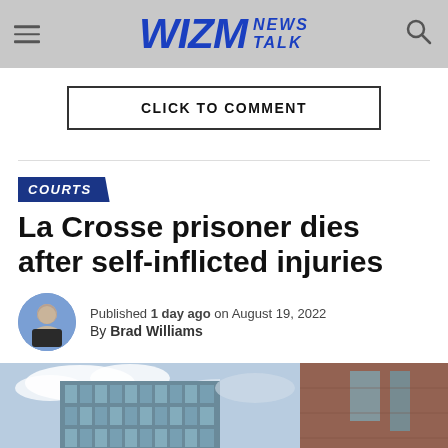WIZM NEWS TALK
CLICK TO COMMENT
COURTS
La Crosse prisoner dies after self-inflicted injuries
Published 1 day ago on August 19, 2022
By Brad Williams
[Figure (photo): Exterior of a modern building with glass windows and brick facade against a partly cloudy sky]